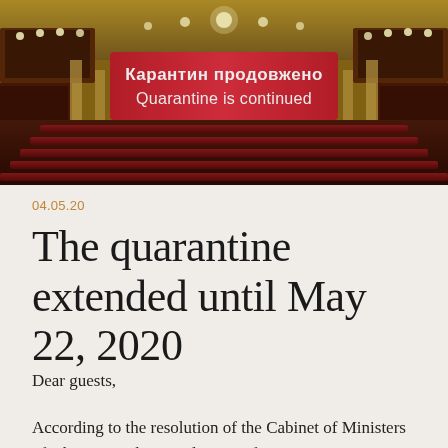[Figure (photo): Interior of an ornate theater with red seats and balconies, overlaid with a red banner reading 'Карантин продовжено / Quarantine is continued' in white text.]
04.05.20
The quarantine extended until May 22, 2020
Dear guests,
According to the resolution of the Cabinet of Ministers of Ukraine on the introduction of an